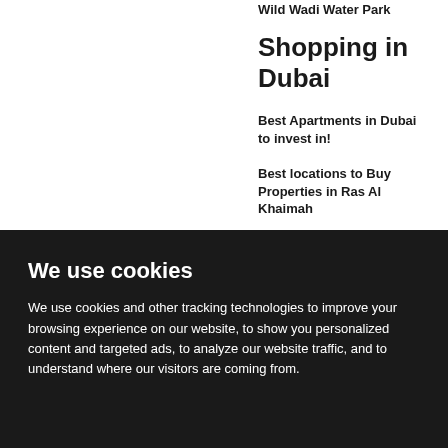Wild Wadi Water Park
Shopping in Dubai
Best Apartments in Dubai to invest in!
Best locations to Buy Properties in Ras Al Khaimah
How Top Development
We use cookies
We use cookies and other tracking technologies to improve your browsing experience on our website, to show you personalized content and targeted ads, to analyze our website traffic, and to understand where our visitors are coming from.